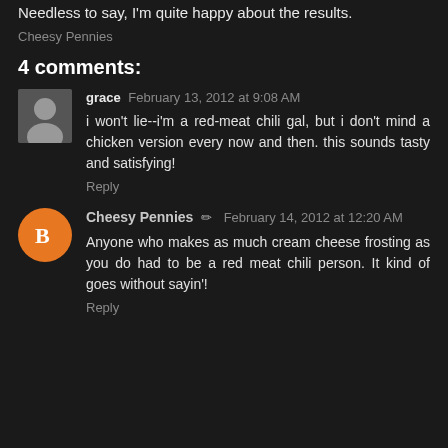Needless to say, I'm quite happy about the results.
Cheesy Pennies
4 comments:
grace  February 13, 2012 at 9:08 AM
i won't lie--i'm a red-meat chili gal, but i don't mind a chicken version every now and then. this sounds tasty and satisfying!
Reply
Cheesy Pennies  February 14, 2012 at 12:20 AM
Anyone who makes as much cream cheese frosting as you do had to be a red meat chili person. It kind of goes without sayin'!
Reply